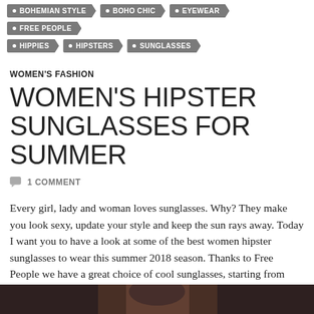BOHEMIAN STYLE • BOHO CHIC • EYEWEAR • FREE PEOPLE
• HIPPIES • HIPSTERS • SUNGLASSES
WOMEN'S FASHION
WOMEN'S HIPSTER SUNGLASSES FOR SUMMER
1 COMMENT
Every girl, lady and woman loves sunglasses. Why? They make you look sexy, update your style and keep the sun rays away. Today I want you to have a look at some of the best women hipster sunglasses to wear this summer 2018 season. Thanks to Free People we have a great choice of cool sunglasses, starting from round and cat eye to aviator framed sunnies.
[Figure (photo): Bottom of page showing partial image of a person wearing sunglasses, dark toned image]